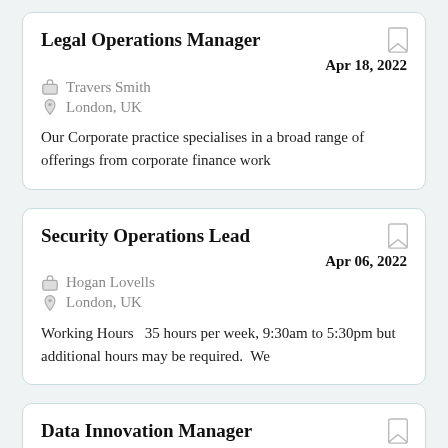Legal Operations Manager
Apr 18, 2022
Travers Smith
London, UK
Our Corporate practice specialises in a broad range of offerings from corporate finance work
Security Operations Lead
Apr 06, 2022
Hogan Lovells
London, UK
Working Hours   35 hours per week, 9:30am to 5:30pm but additional hours may be required.  We
Data Innovation Manager
Mar 30, 2022
Mayer Brown